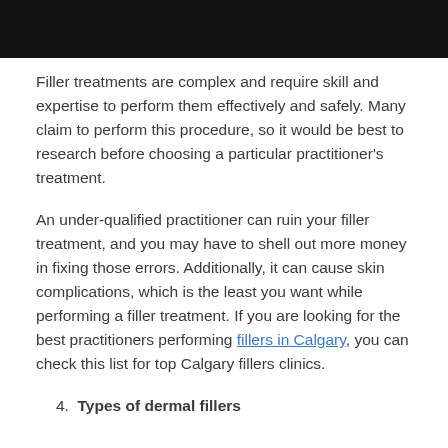[Figure (photo): Black image bar at the top of the page]
Filler treatments are complex and require skill and expertise to perform them effectively and safely. Many claim to perform this procedure, so it would be best to research before choosing a particular practitioner's treatment.
An under-qualified practitioner can ruin your filler treatment, and you may have to shell out more money in fixing those errors. Additionally, it can cause skin complications, which is the least you want while performing a filler treatment. If you are looking for the best practitioners performing fillers in Calgary, you can check this list for top Calgary fillers clinics.
4. Types of dermal fillers